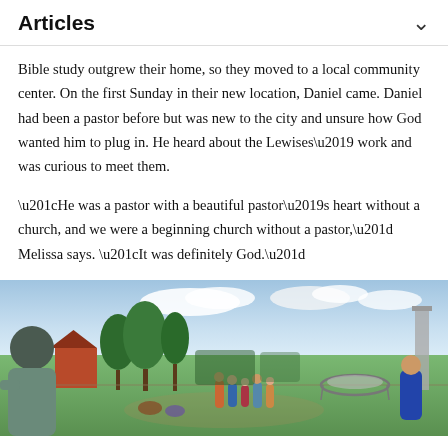Articles
Bible study outgrew their home, so they moved to a local community center. On the first Sunday in their new location, Daniel came. Daniel had been a pastor before but was new to the city and unsure how God wanted him to plug in. He heard about the Lewises’ work and was curious to meet them.
“He was a pastor with a beautiful pastor’s heart without a church, and we were a beginning church without a pastor,” Melissa says. “It was definitely God.”
[Figure (photo): Outdoor photo showing a group of people gathered in a green field or garden area. A person in a grey t-shirt is visible in the foreground from behind. Trees, a red barn-like building, a trampoline, and other people are visible in the background under a partly cloudy sky.]